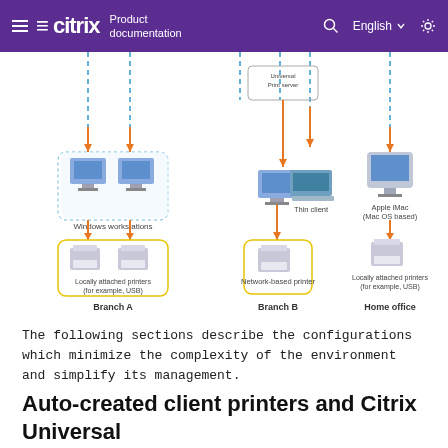≡ citrix Product documentation  Q  English  ☆
[Figure (network-graph): Network diagram showing printing configurations for Branch A (Windows workstations with locally attached printers and USB), Branch B (network-based printer with Universal Print Server and thin client), and Home office (Apple iMac Mac OS based with locally attached printers). Orange arrows show connections between components. Blue dashed lines indicate network connections from top.]
The following sections describe the configurations which minimize the complexity of the environment and simplify its management.
Auto-created client printers and Citrix Universal printer driver